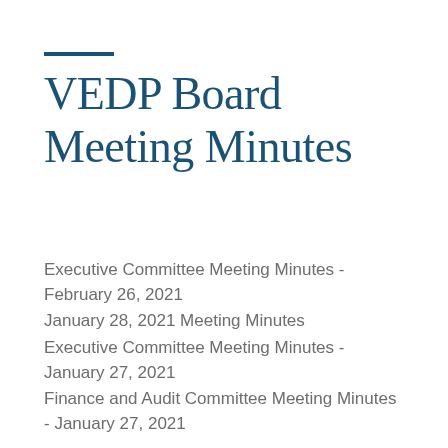VEDP Board Meeting Minutes
Executive Committee Meeting Minutes - February 26, 2021
January 28, 2021 Meeting Minutes
Executive Committee Meeting Minutes - January 27, 2021
Finance and Audit Committee Meeting Minutes - January 27, 2021